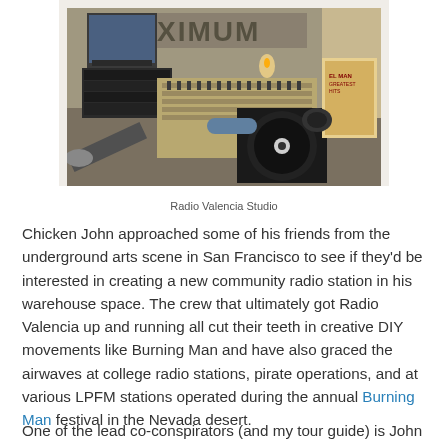[Figure (photo): Interior of Radio Valencia Studio showing mixing board, turntable, microphones, computer monitor, and vinyl records on a desk with a candle lit. The word MAXIMUM is visible on the wall behind.]
Radio Valencia Studio
Chicken John approached some of his friends from the underground arts scene in San Francisco to see if they'd be interested in creating a new community radio station in his warehouse space. The crew that ultimately got Radio Valencia up and running all cut their teeth in creative DIY movements like Burning Man and have also graced the airwaves at college radio stations, pirate operations, and at various LPFM stations operated during the annual Burning Man festival in the Nevada desert.
One of the lead co-conspirators (and my tour guide) is John